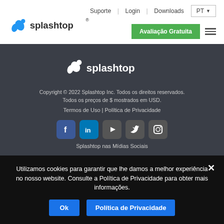[Figure (logo): Splashtop logo with splash icon in blue and text in dark]
Suporte | Login | Downloads PT
[Figure (logo): Avaliação Gratuita green button and hamburger menu]
[Figure (logo): Splashtop white logo in footer dark background]
Copyright © 2022 Splashtop Inc. Todos os direitos reservados.
Todos os preços de $ mostrados em USD.
Termos de Uso | Política de Privacidade
[Figure (illustration): Social media icons: Facebook, LinkedIn, YouTube, Twitter, Instagram in rounded square containers]
Splashtop nas Mídias Sociais
Utilizamos cookies para garantir que lhe damos a melhor experiência no nosso website. Consulte a Política de Privacidade para obter mais informações.
Ok  Política de Privacidade